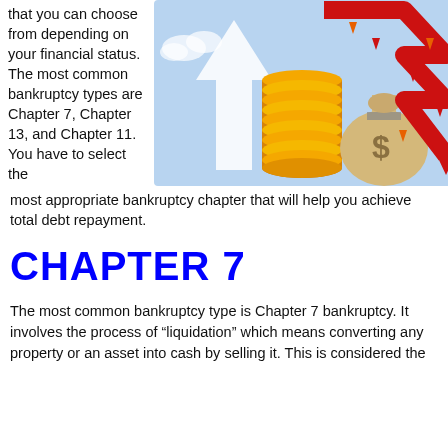that you can choose from depending on your financial status. The most common bankruptcy types are Chapter 7, Chapter 13, and Chapter 11. You have to select the most appropriate bankruptcy chapter that will help you achieve total debt repayment.
[Figure (illustration): Financial illustration showing gold coins stacked, a money bag with a dollar sign, a red downward trending arrow (stock market decline), a white upward arrow, and small orange/red downward arrows on a light blue background.]
CHAPTER 7
The most common bankruptcy type is Chapter 7 bankruptcy. It involves the process of “liquidation” which means converting any property or an asset into cash by selling it. This is considered the